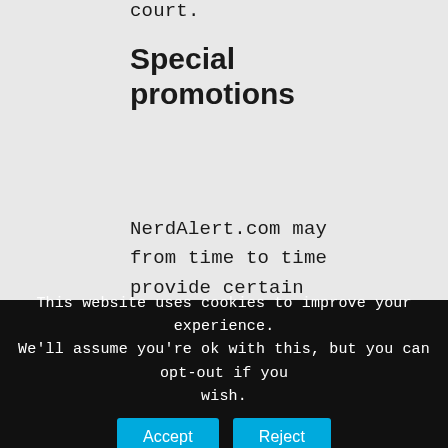court.
Special promotions
NerdAlert.com may from time to time provide certain promotional opportunities to Nerd Alert Service Requesters All promotions will be run
This website uses cookies to improve your experience. We'll assume you're ok with this, but you can opt-out if you wish. Accept Reject